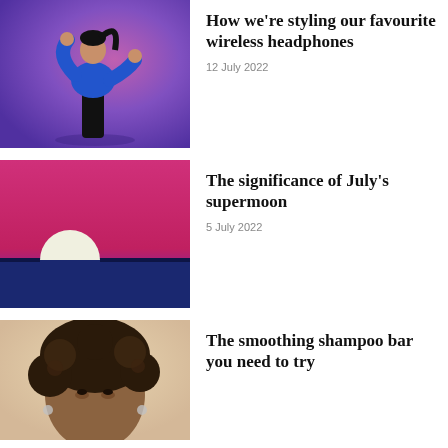[Figure (photo): Woman in blue sweater dancing against purple-pink gradient background]
How we're styling our favourite wireless headphones
12 July 2022
[Figure (photo): Sunset over ocean with large white sun on horizon, pink and purple sky]
The significance of July's supermoon
5 July 2022
[Figure (photo): Woman with curly hair, close-up portrait]
The smoothing shampoo bar you need to try